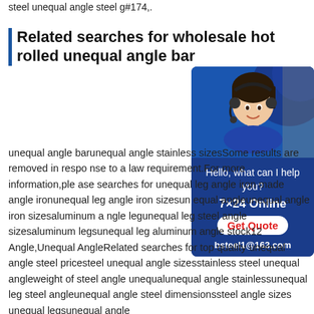steel unequal angle steel g#174,.
Related searches for wholesale hot rolled unequal angle bar
[Figure (photo): Customer service representative wearing headset, smiling, with chat widget showing 'Hello, what can I help you?', '7×24 Online', 'Get Quote', 'bsteel1@163.com' on dark blue background]
unequal angle barunequal angle stainless sizesSome results are removed in response to a law requirement.For more information,please searches for unequal leg angle iron made angle ironunequal leg angle iron sizesunequal angleunequal angle iron sizesaluminum angle legunequal leg steel angle sizesaluminum legsunequal leg aluminum angle stock12 Angle,Unequal AngleRelated searches for top quality unequal angle steel pricesteel unequal angle sizesstainless steel unequal angleweight of steel angle unequalunequal angle stainlessunequal leg steel angleunequal angle steel dimensionssteel angle sizes unequal legsunequal angle